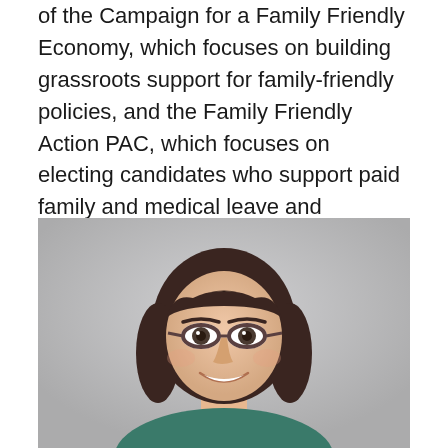of the Campaign for a Family Friendly Economy, which focuses on building grassroots support for family-friendly policies, and the Family Friendly Action PAC, which focuses on electing candidates who support paid family and medical leave and affordable elder and childcare.
[Figure (photo): Professional headshot of a woman with dark shoulder-length hair, glasses, and a warm smile, against a light gray background.]